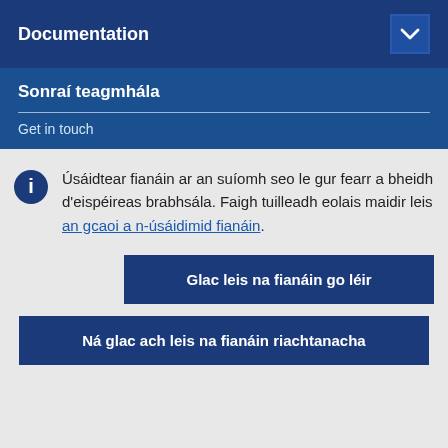Documentation
Sonraí teagmhála
Get in touch
Úsáidtear fianáin ar an suíomh seo le gur fearr a bheidh d'eispéireas brabhsála. Faigh tuilleadh eolais maidir leis an gcaoi a n-úsáidimid fianáin.
Glac leis na fianáin go léir
Ná glac ach leis na fianáin riachtanacha